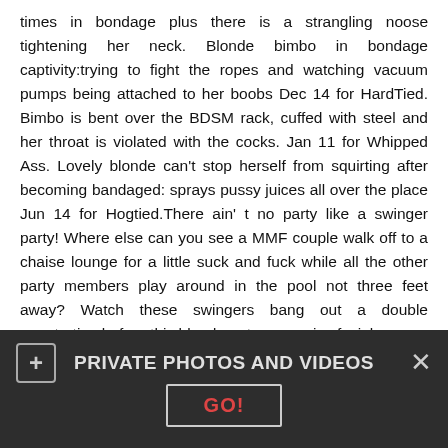times in bondage plus there is a strangling noose tightening her neck. Blonde bimbo in bondage captivity:trying to fight the ropes and watching vacuum pumps being attached to her boobs Dec 14 for HardTied. Bimbo is bent over the BDSM rack, cuffed with steel and her throat is violated with the cocks. Jan 11 for Whipped Ass. Lovely blonde can't stop herself from squirting after becoming bandaged: sprays pussy juices all over the place Jun 14 for Hogtied.There ain' t no party like a swinger party! Where else can you see a MMF couple walk off to a chaise lounge for a little suck and fuck while all the other party members play around in the pool not three feet away? Watch these swingers bang out a double penetration before this blonde gets a massive facial.
[Figure (photo): Dark background photo showing a blonde woman]
PRIVATE PHOTOS AND VIDEOS
GO!